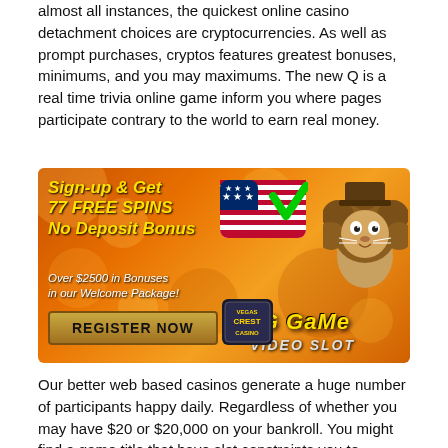almost all instances, the quickest online casino detachment choices are cryptocurrencies. As well as prompt purchases, cryptos features greatest bonuses, minimums, and you may maximums. The new Q is a real time trivia online game inform you where pages participate contrary to the world to earn real money.
[Figure (infographic): Casino advertisement banner with orange bokeh background. Yellow italic text: 'Sign-up & Get 77 FREE SPINS No Deposit Bonus'. American flag with green checkmark. White italic text: 'Over $2500 in Bonuses in our Welcome Package!'. Gold button: 'REGISTER NOW'. 'Big Game' yellow stylized text. 'Video Slot' metallic text. Vegas Crest Casino logo badge. Cartoon lion mascot on right.]
Our better web based casinos generate a huge number of participants happy daily. Regardless of whether you may have $20 or $20,000 on your bankroll. You might find a game title that have slot constraints you to definitely finest work for you.